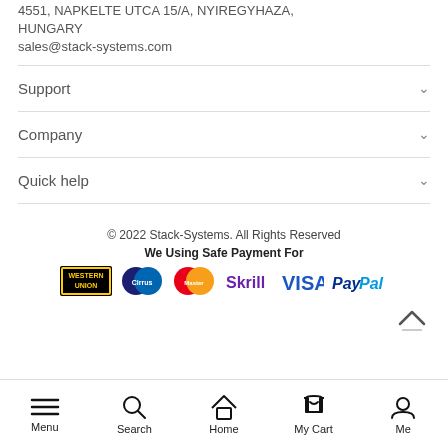4551, NAPKELTE UTCA 15/A, NYIREGYHAZA, HUNGARY
sales@stack-systems.com
Support
Company
Quick help
© 2022 Stack-Systems. All Rights Reserved
We Using Safe Payment For
[Figure (logo): Payment method logos: Western Union, Cirrus, MasterCard, Skrill, VISA, PayPal]
Menu | Search | Home | My Cart | Me